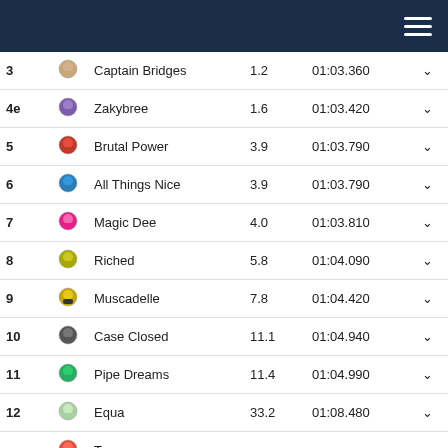Navigation header bar
| # | Icon | Name | Odds | Time |  |
| --- | --- | --- | --- | --- | --- |
| 3 |  | Captain Bridges | 1.2 | 01:03.360 | v |
| 4e |  | Zakybree | 1.6 | 01:03.420 | v |
| 5 |  | Brutal Power | 3.9 | 01:03.790 | v |
| 6 |  | All Things Nice | 3.9 | 01:03.790 | v |
| 7 |  | Magic Dee | 4.0 | 01:03.810 | v |
| 8 |  | Riched | 5.8 | 01:04.090 | v |
| 9 |  | Muscadelle | 7.8 | 01:04.420 | v |
| 10 |  | Case Closed | 11.1 | 01:04.940 | v |
| 11 |  | Pipe Dreams | 11.4 | 01:04.990 | v |
| 12 |  | Equa | 33.2 | 01:08.480 | v |
| - |  | Tere■ | - | - | v |
| - |  | Kissable Eight | - | - | v |
Watch videos
[Figure (photo): Video preview thumbnail showing a sandy/earthy race track surface]